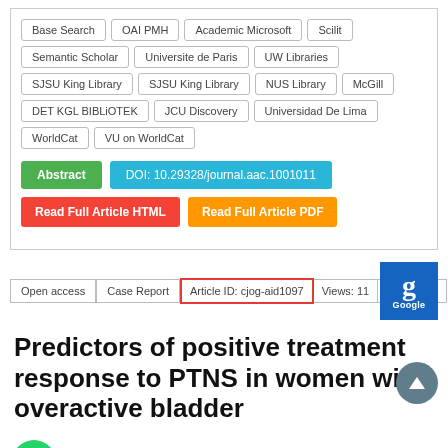Base Search
OAI PMH
Academic Microsoft
Scilit
Semantic Scholar
Universite de Paris
UW Libraries
SJSU King Library
SJSU King Library
NUS Library
McGill
DET KGL BIBLiOTEK
JCU Discovery
Universidad De Lima
WorldCat
VU on WorldCat
Abstract
DOI: 10.29328/journal.aac.1001011
Read Full Article HTML
Read Full Article PDF
Open access
Case Report
Article ID: cjog-aid1097
Views: 11
Download:
Predictors of positive treatment response to PTNS in women with overactive bladder